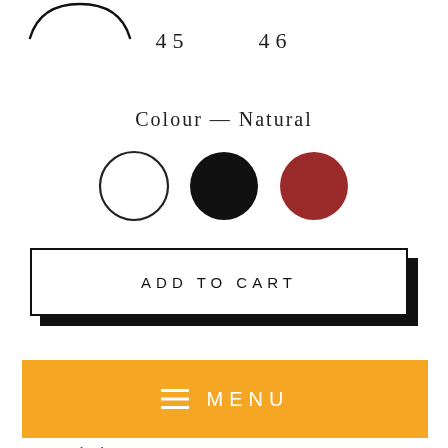[Figure (illustration): Partial view of a shoe or product shape outline at top left]
45    46
Colour — Natural
[Figure (illustration): Three colour swatches: white circle with black border, black filled circle, dark red filled circle]
ADD TO CART
MENU
100% leather